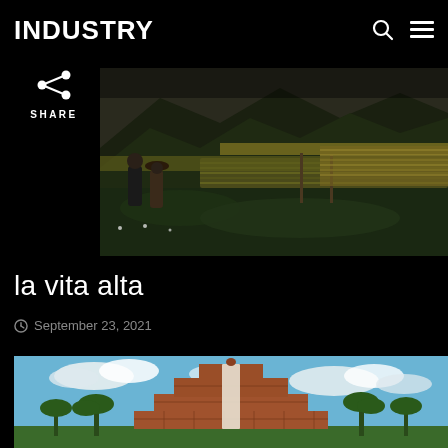INDUSTRY
[Figure (photo): Two people walking through a lush vineyard/farm field with mountains in the background, dark moody tones]
la vita alta
September 23, 2021
[Figure (photo): Mayan-style temple structure with palm trees under a blue sky with clouds]